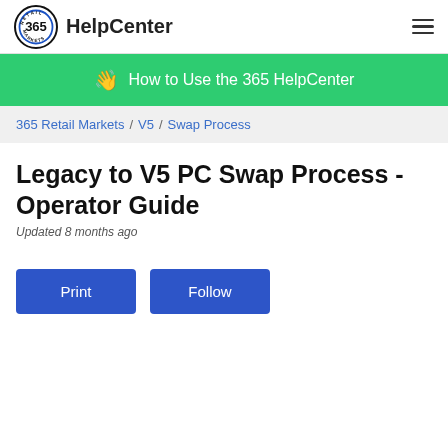365 HelpCenter
How to Use the 365 HelpCenter
365 Retail Markets / V5 / Swap Process
Legacy to V5 PC Swap Process - Operator Guide
Updated 8 months ago
Print  Follow